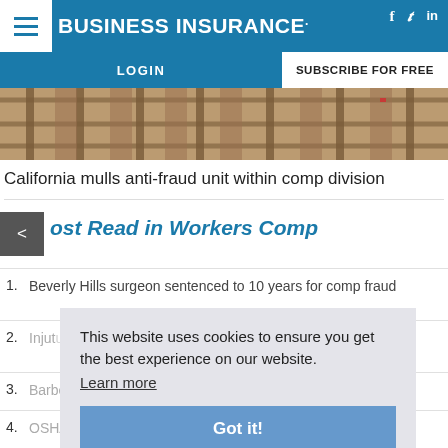BUSINESS INSURANCE
[Figure (photo): Construction framing/scaffolding wooden beams overhead view]
California mulls anti-fraud unit within comp division
ost Read in Workers Comp
1. Beverly Hills surgeon sentenced to 10 years for comp fraud
2. Injured workers can't claim wrongful termination
3. Barbecue restaurant owner cooks up fraud scheme
4. OSHA fines contractor $1.3 million for second fatal fall
This website uses cookies to ensure you get the best experience on our website. Learn more Got it!